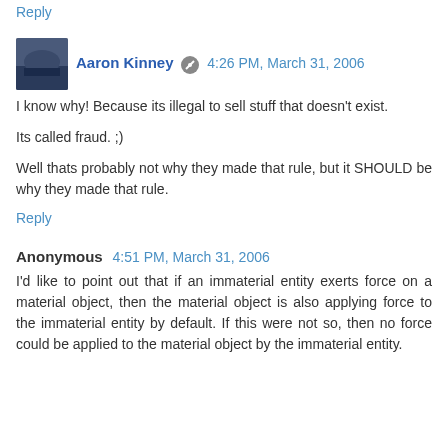Reply
Aaron Kinney  4:26 PM, March 31, 2006
I know why! Because its illegal to sell stuff that doesn't exist.
Its called fraud. ;)
Well thats probably not why they made that rule, but it SHOULD be why they made that rule.
Reply
Anonymous  4:51 PM, March 31, 2006
I'd like to point out that if an immaterial entity exerts force on a material object, then the material object is also applying force to the immaterial entity by default. If this were not so, then no force could be applied to the material object by the immaterial entity.